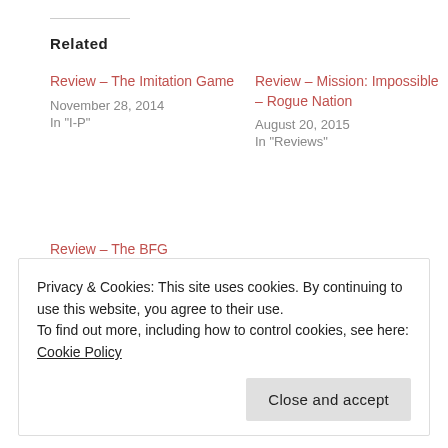Related
Review – The Imitation Game
November 28, 2014
In "I-P"
Review – Mission: Impossible – Rogue Nation
August 20, 2015
In "Reviews"
Review – The BFG
August 1, 2016
In "Reviews"
Privacy & Cookies: This site uses cookies. By continuing to use this website, you agree to their use.
To find out more, including how to control cookies, see here: Cookie Policy